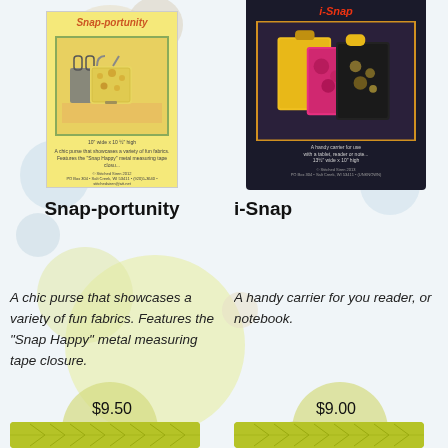[Figure (photo): Product listing page showing two sewing pattern products side by side. Left: Snap-portunity purse pattern with yellow floral bags on cover. Right: i-Snap pattern (partially visible) with dark cover showing tablet carrier.]
Snap-portunity
i-Snap
A chic purse that showcases a variety of fun fabrics. Features the “Snap Happy” metal measuring tape closure.
A handy carrier for you reader, or notebook.
$9.50
$9.00